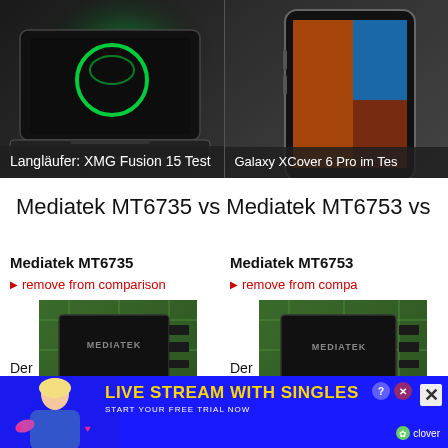[Figure (screenshot): Top banner with two product images: left shows a gaming laptop (XMG Fusion 15) with green logo, right shows a Samsung Galaxy XCover 6 Pro smartphone.]
Langläufer: XMG Fusion 15 Test
Galaxy XCover 6 Pro im Test
Mediatek MT6735 vs Mediatek MT6753 vs
Mediatek MT6735
▶ remove from comparison
[Figure (photo): Close-up photo of a MediaTek chip on a green circuit board.]
Der
Mediatek MT6735 ist ein 2014 vorgestellter ARM-SoC
Mediatek MT6753
▶ remove from comparison
[Figure (photo): Close-up photo of a MediaTek chip on a green circuit board (second column).]
Der
Mediatek MT6753 ist März 2015 vorgestellter
[Figure (screenshot): Advertisement banner: Live Stream With Singles - Start Your Free Trial Now, clover branding.]